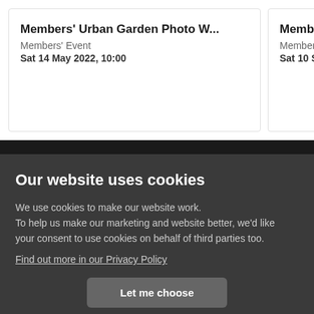Members' Urban Garden Photo W...
Members' Event
Sat 14 May 2022, 10:00
Members'
Members'
Sat 10 Sep
Our website uses cookies
We use cookies to make our website work. To help us make our marketing and website better, we'd like your consent to use cookies on behalf of third parties too.
Find out more in our Privacy Policy
Let me choose
Essential only
Yes, that's fine